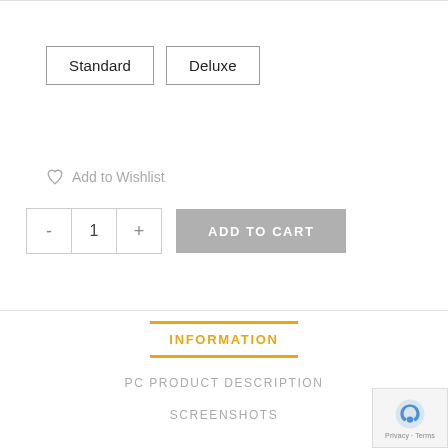Standard | Deluxe
Add to Wishlist
- 1 + ADD TO CART
INFORMATION
PC PRODUCT DESCRIPTION
SCREENSHOTS